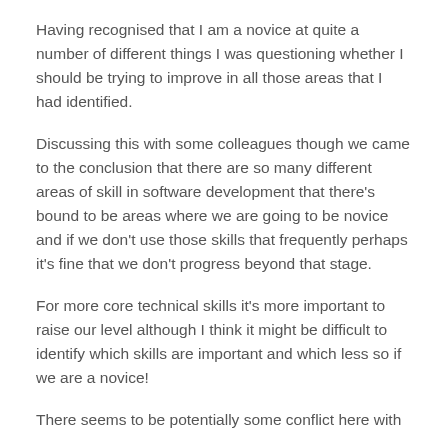Having recognised that I am a novice at quite a number of different things I was questioning whether I should be trying to improve in all those areas that I had identified.
Discussing this with some colleagues though we came to the conclusion that there are so many different areas of skill in software development that there's bound to be areas where we are going to be novice and if we don't use those skills that frequently perhaps it's fine that we don't progress beyond that stage.
For more core technical skills it's more important to raise our level although I think it might be difficult to identify which skills are important and which less so if we are a novice!
There seems to be potentially some conflict here with